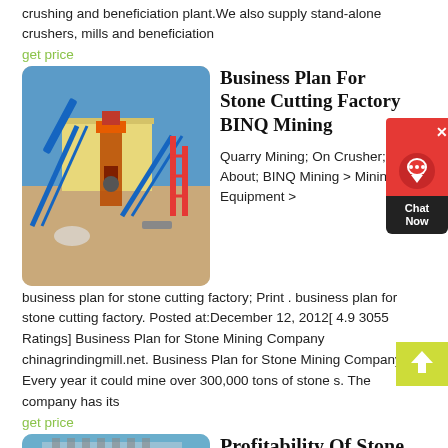crushing and beneficiation plant.We also supply stand-alone crushers, mills and beneficiation
get price
[Figure (photo): Outdoor mining/crushing facility with blue conveyor belts and industrial machinery against a clear blue sky]
Business Plan For Stone Cutting Factory BINQ Mining
Quarry Mining; On Crusher; About; BINQ Mining > Mining Equipment >
business plan for stone cutting factory; Print . business plan for stone cutting factory. Posted at:December 12, 2012[ 4.9 3055 Ratings] Business Plan for Stone Mining Company chinagrindingmill.net. Business Plan for Stone Mining Company. Every year it could mine over 300,000 tons of stone s. The company has its
get price
[Figure (photo): Building or industrial facility with scaffolding against a blue sky, partially visible]
Profitability Of Stone Crushing